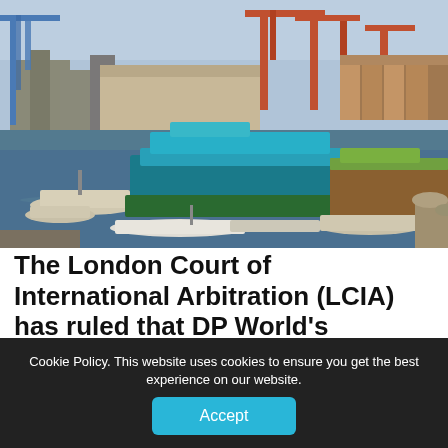[Figure (photo): A busy port with several boats and ships docked in the harbor. A large blue vessel and a green-hulled boat are prominent in the foreground. Industrial port cranes and warehouses are visible in the background under a hazy sky.]
The London Court of International Arbitration (LCIA) has ruled that DP World's concession agreement over the Doraleh Container Terminal is valid and legally binding, rendering th...
Cookie Policy. This website uses cookies to ensure you get the best experience on our website.